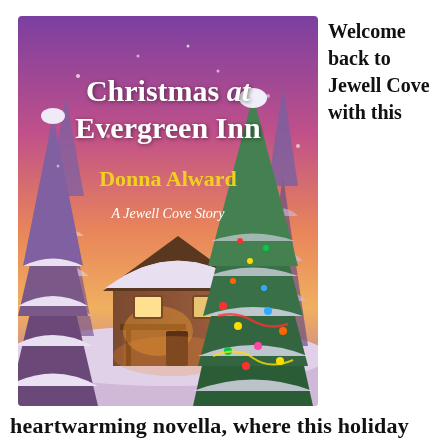[Figure (illustration): Book cover of 'Christmas at Evergreen Inn' by Donna Alward. A snowy winter scene with pine trees covered in snow, a cozy cabin with warm glowing windows, a decorated Christmas tree with colorful lights, and a vivid pink/purple sunset sky. Title text in white: 'Christmas at Evergreen Inn'. Author name in gold: 'Donna Alward'. Subtitle in white: 'A Jewell Cove Story'.]
Welcome back to Jewell Cove with this
heartwarming novella, where this holiday